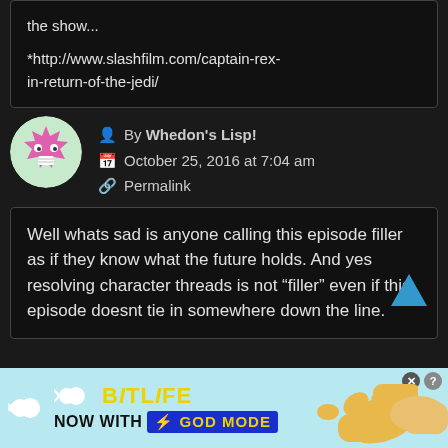the show...

*http://www.slashfilm.com/captain-rex-in-return-of-the-jedi/
By Whedon's Lisp!
October 25, 2016 at 7:04 am
Permalink
Well whats sad is anyone calling this episode filler as if they know what the future holds. And yes resolving character threads is not “filler” even if this episode doesnt tie in somewhere down the line.
[Figure (illustration): BitLife advertisement banner with sperm logo, yellow BitLife text, and GOD MODE blue button with lightning bolt, pointing hand illustration]